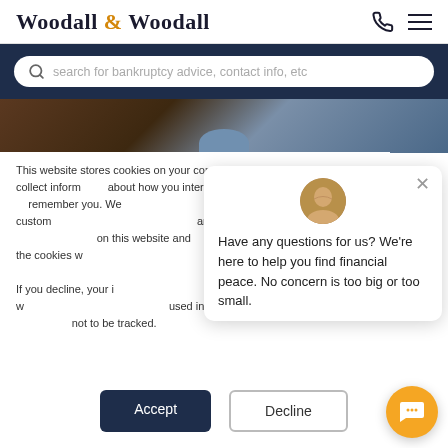Woodall & Woodall
search for bankruptcy advice, contact info, etc
[Figure (photo): Dark background hero image with partial blue shape visible, likely a person in business attire]
This website stores cookies on your computer. These cookies are used to collect information about how you interact with our website and allow us to remember you. We use this information in order to improve and customize your browsing experience and for analytics and metrics about our visitors both on this website and other media. To find out more about the cookies we use, see our Privacy Policy.

If you decline, your information won't be tracked when you visit this website. A single cookie will be used in your browser to remember your preference not to be tracked.
[Figure (photo): Chat popup widget with avatar photo of a smiling man and message: Have any questions for us? We're here to help you find financial peace. No concern is too big or too small.]
Have any questions for us? We're here to help you find financial peace. No concern is too big or too small.
Accept
Decline